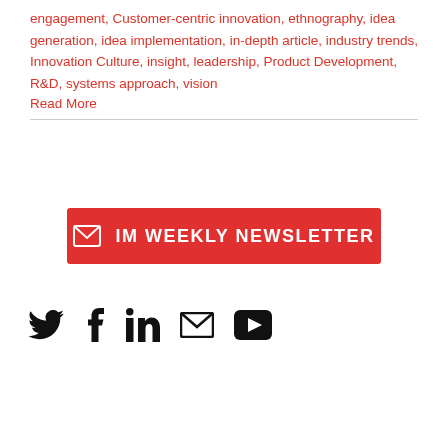engagement, Customer-centric innovation, ethnography, idea generation, idea implementation, in-depth article, industry trends, Innovation Culture, insight, leadership, Product Development, R&D, systems approach, vision
Read More
[Figure (infographic): Red button with envelope icon and text 'IM WEEKLY NEWSLETTER']
[Figure (infographic): Social media icons: Twitter, Facebook, LinkedIn, Email, YouTube]